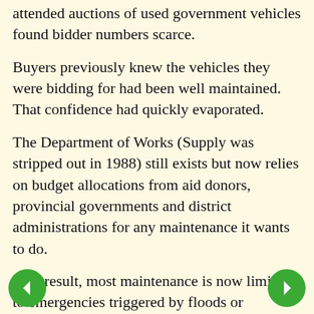attended auctions of used government vehicles found bidder numbers scarce.
Buyers previously knew the vehicles they were bidding for had been well maintained. That confidence had quickly evaporated.
The Department of Works (Supply was stripped out in 1988) still exists but now relies on budget allocations from aid donors, provincial governments and district administrations for any maintenance it wants to do.
As a result, most maintenance is now limited to emergencies triggered by floods or landslides.
Aid donors that had originally provided funding for the construction of roads, bridges, schools, ...